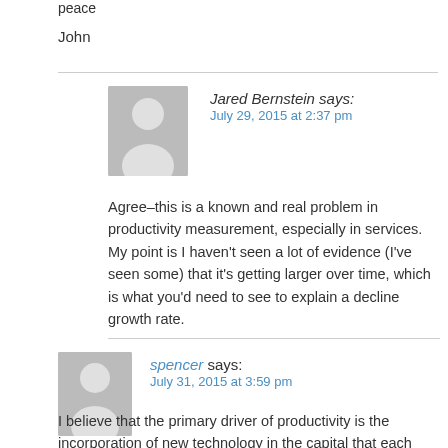peace
John
Jared Bernstein says:
July 29, 2015 at 2:37 pm
Agree–this is a known and real problem in productivity measurement, especially in services. My point is I haven't seen a lot of evidence (I've seen some) that it's getting larger over time, which is what you'd need to see to explain a decline growth rate.
spencer says:
July 31, 2015 at 3:59 pm
I believe that the primary driver of productivity is the incorporation of new technology in the capital that each